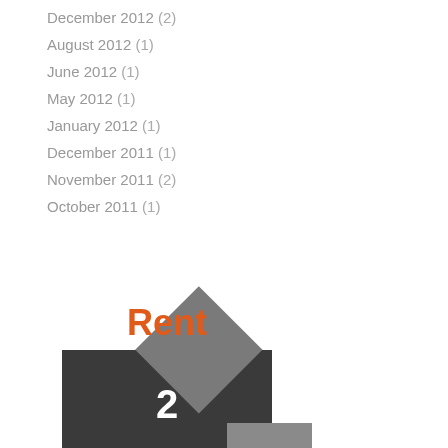December 2012 (2)
August 2012 (1)
June 2012 (1)
May 2012 (1)
January 2012 (1)
December 2011 (1)
November 2011 (2)
October 2011 (1)
[Figure (illustration): A house-shaped icon made of dark charcoal rectangle (body) and medium grey rotated square (roof/diamond), with the word 'Rent' in bold orange text overlaid on the diamond, and a white number '2' at the bottom center of the house body. A smaller grey rectangle is partially visible at the bottom right.]